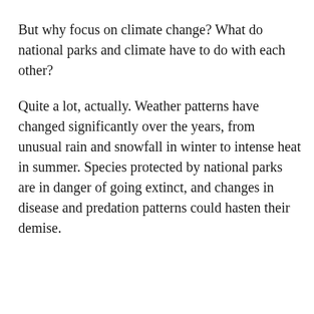But why focus on climate change? What do national parks and climate have to do with each other?
Quite a lot, actually. Weather patterns have changed significantly over the years, from unusual rain and snowfall in winter to intense heat in summer. Species protected by national parks are in danger of going extinct, and changes in disease and predation patterns could hasten their demise.